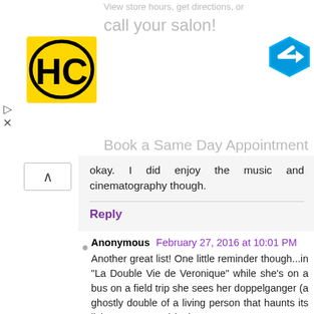[Figure (screenshot): Ad banner showing 'View store hours, get directions, or call your salon!' with HC logo in yellow square and a blue navigation arrow icon]
okay. I did enjoy the music and cinematography though.
Reply
Anonymous February 27, 2016 at 10:01 PM
Another great list! One little reminder though...in "La Double Vie de Veronique" while she's on a bus on a field trip she sees her doppelganger (a ghostly double of a living person that haunts its living counterpart) in the street.
Legend has it that if you come face to face with your doppelgänger, it's an omen or warning of death — for both you and your twin. Because of this, if you see a replica of yourself, run for your life. If you keep seeing your doppelganger, chances are that your days are numbered